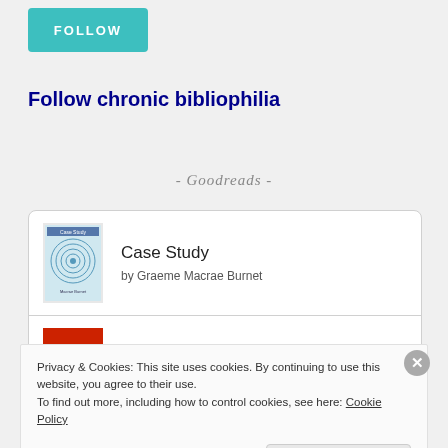[Figure (other): Teal/turquoise FOLLOW button]
Follow chronic bibliophilia
- Goodreads -
[Figure (other): Book listing card showing: 'Case Study' by Graeme Macrae Burnet, and 'The Unfolding']
Privacy & Cookies: This site uses cookies. By continuing to use this website, you agree to their use.
To find out more, including how to control cookies, see here: Cookie Policy
Close and accept